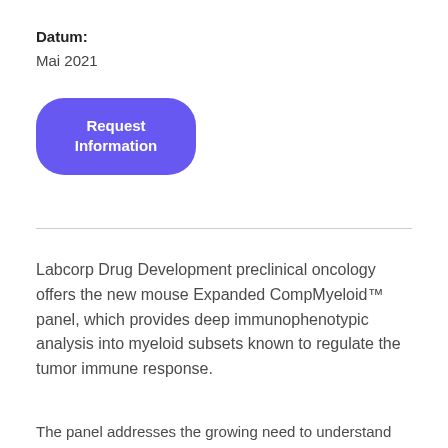Datum:
Mai 2021
[Figure (other): Blue rounded button labeled 'Request Information']
Labcorp Drug Development preclinical oncology offers the new mouse Expanded CompMyeloid™ panel, which provides deep immunophenotypic analysis into myeloid subsets known to regulate the tumor immune response.
The panel addresses the growing need to understand